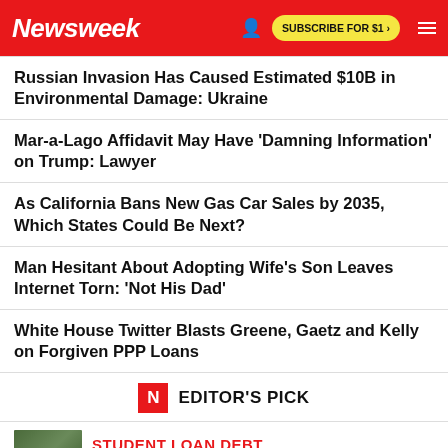Newsweek — SUBSCRIBE FOR $1 >
Russian Invasion Has Caused Estimated $10B in Environmental Damage: Ukraine
Mar-a-Lago Affidavit May Have 'Damning Information' on Trump: Lawyer
As California Bans New Gas Car Sales by 2035, Which States Could Be Next?
Man Hesitant About Adopting Wife's Son Leaves Internet Torn: 'Not His Dad'
White House Twitter Blasts Greene, Gaetz and Kelly on Forgiven PPP Loans
EDITOR'S PICK
STUDENT LOAN DEBT